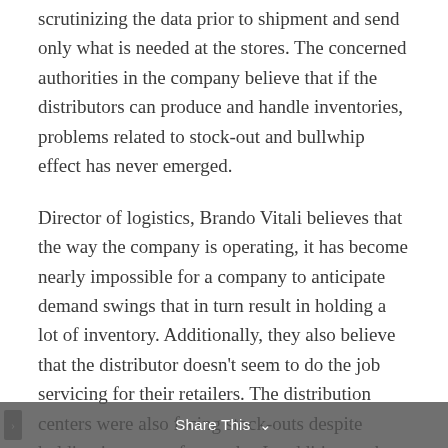scrutinizing the data prior to shipment and send only what is needed at the stores. The concerned authorities in the company believe that if the distributors can produce and handle inventories, problems related to stock-out and bullwhip effect has never emerged.
Director of logistics, Brando Vitali believes that the way the company is operating, it has become nearly impossible for a company to anticipate demand swings that in turn result in holding a lot of inventory. Additionally, they also believe that the distributor doesn't seem to do the job servicing for their retailers. The distribution centers were also facing stock-outs despite holding inventory for weeks. In addition to that, teaching distributors about the algorithm and software related to demand forecasting, order
Share This ∨